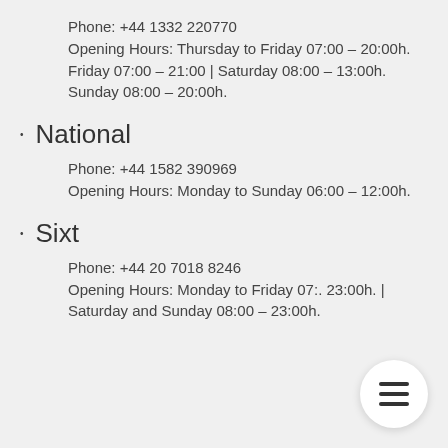Phone: +44 1332 220770
Opening Hours: Thursday to Friday 07:00 – 20:00h. Friday 07:00 – 21:00 | Saturday 08:00 – 13:00h. Sunday 08:00 – 20:00h.
National
Phone: +44 1582 390969
Opening Hours: Monday to Sunday 06:00 – 12:00h.
Sixt
Phone: +44 20 7018 8246
Opening Hours: Monday to Friday 07:.. 23:00h. | Saturday and Sunday 08:00 – 23:00h.